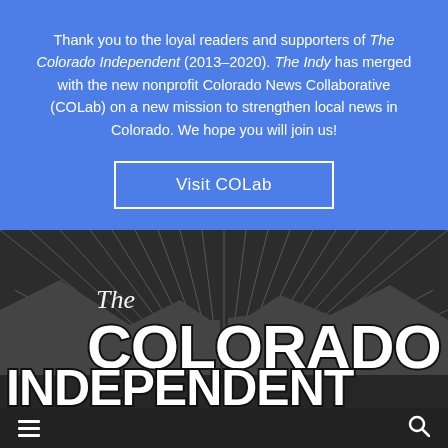Thank you to the loyal readers and supporters of The Colorado Independent (2013–2020). The Indy has merged with the new nonprofit Colorado News Collaborative (COLab) on a new mission to strengthen local news in Colorado. We hope you will join us!
Visit COLab
[Figure (logo): The Colorado Independent logo — black and white mountain landscape background with sunburst rays, overlaid with 'The Colorado Independent' in bold white block letters with black outline]